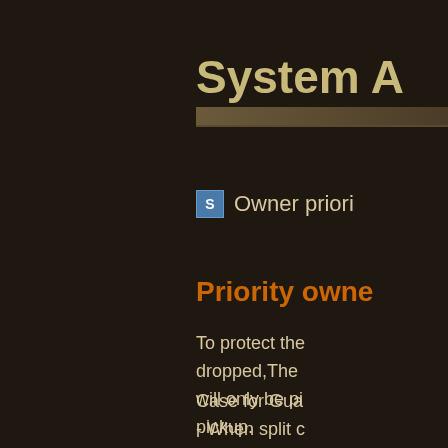System A
Owner priori
Priority owne
To protect the dropped,The will only be pi pickup.
Case for Gua - When split c - Move the it